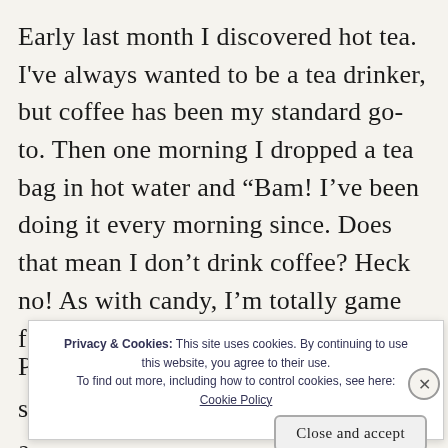Early last month I discovered hot tea. I've always wanted to be a tea drinker, but coffee has been my standard go-to. Then one morning I dropped a tea bag in hot water and “Bam! I’ve been doing it every morning since. Does that mean I don’t drink coffee? Heck no! As with candy, I’m totally game for coffee, but I don’t need it.
P ... s ... a ...
Privacy & Cookies: This site uses cookies. By continuing to use this website, you agree to their use. To find out more, including how to control cookies, see here: Cookie Policy